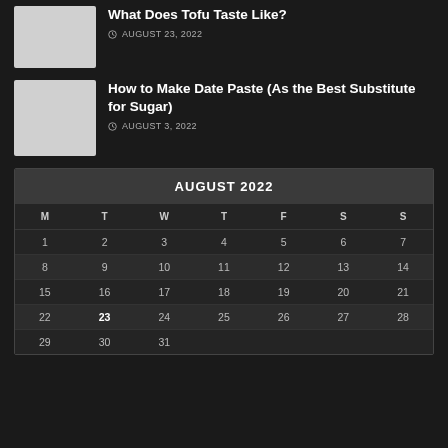[Figure (photo): Thumbnail image placeholder (light gray)]
What Does Tofu Taste Like?
AUGUST 23, 2022
[Figure (photo): Thumbnail image placeholder (light gray)]
How to Make Date Paste (As the Best Substitute for Sugar)
AUGUST 3, 2022
| M | T | W | T | F | S | S |
| --- | --- | --- | --- | --- | --- | --- |
| 1 | 2 | 3 | 4 | 5 | 6 | 7 |
| 8 | 9 | 10 | 11 | 12 | 13 | 14 |
| 15 | 16 | 17 | 18 | 19 | 20 | 21 |
| 22 | 23 | 24 | 25 | 26 | 27 | 28 |
| 29 | 30 | 31 |  |  |  |  |